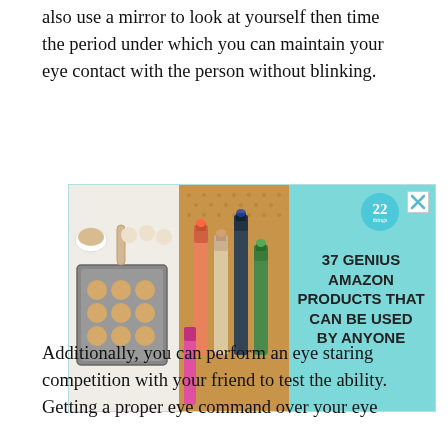also use a mirror to look at yourself then time the period under which you can maintain your eye contact with the person without blinking.
[Figure (infographic): Advertisement banner with teal/cyan background. Shows baking cookies image on left, cosmetics/beauty products in center, a numbered badge '22' in a teal circle, and bold text reading '37 GENIUS AMAZON PRODUCTS THAT CAN BE USED BY ANYONE' on the right. Has a close (X) button in top right corner.]
Additionally, you can perform an eye staring competition with your friend to test the ability. Getting a proper eye command over your eye